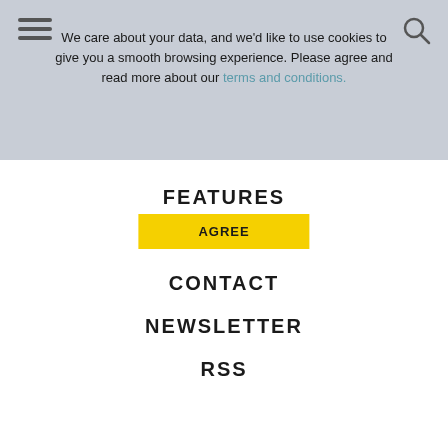We care about your data, and we'd like to use cookies to give you a smooth browsing experience. Please agree and read more about our terms and conditions.
AGREE
FEATURES
ABOUT
CONTACT
NEWSLETTER
RSS